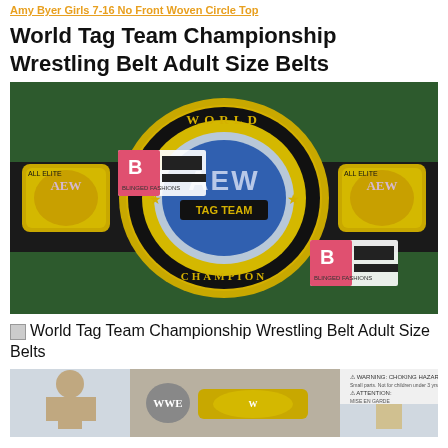Amy Byer Girls 7-16 No Front Woven Circle Top
World Tag Team Championship Wrestling Belt Adult Size Belts
[Figure (photo): AEW World Tag Team Championship wrestling belt displayed on dark green background with gold plating and blue AEW logo, with BF/Blinged Fashions watermarks visible]
World Tag Team Championship Wrestling Belt Adult Size Belts
[Figure (photo): WWE wrestling belt toy/collectible in retail packaging showing two wrestler figures and a championship belt]